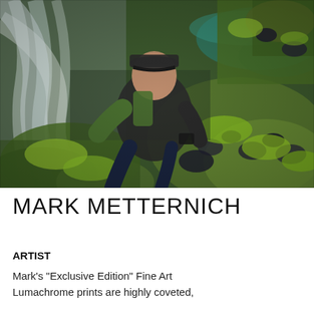[Figure (photo): A man in a dark jacket and green sleeves with a baseball cap crouches on mossy green rocks beside a flowing waterfall/river with motion-blurred white water.]
MARK METTERNICH
ARTIST
Mark's "Exclusive Edition" Fine Art Lumachrome prints are highly coveted,